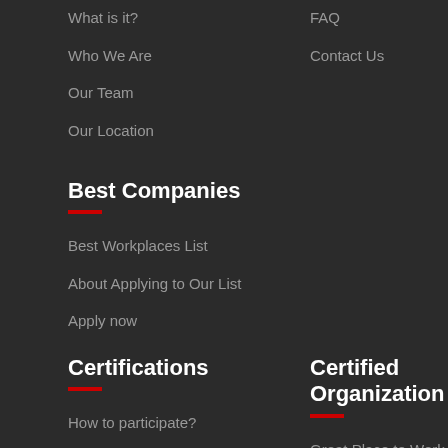What is it?
FAQ
Who We Are
Contact Us
Our Team
Our Location
Best Companies
Best Workplaces List
About Applying to Our List
Apply now
Certifications
Certified Organization
How to participate?
Great Place to Work